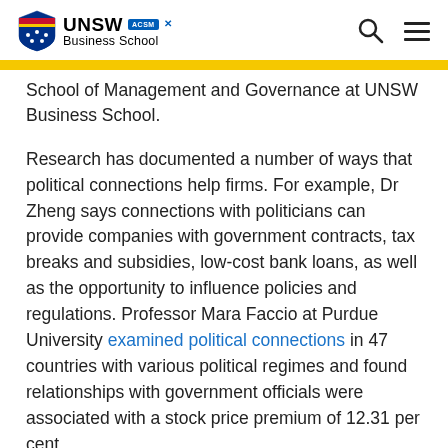UNSW Business School
School of Management and Governance at UNSW Business School.
Research has documented a number of ways that political connections help firms. For example, Dr Zheng says connections with politicians can provide companies with government contracts, tax breaks and subsidies, low-cost bank loans, as well as the opportunity to influence policies and regulations. Professor Mara Faccio at Purdue University examined political connections in 47 countries with various political regimes and found relationships with government officials were associated with a stock price premium of 12.31 per cent.